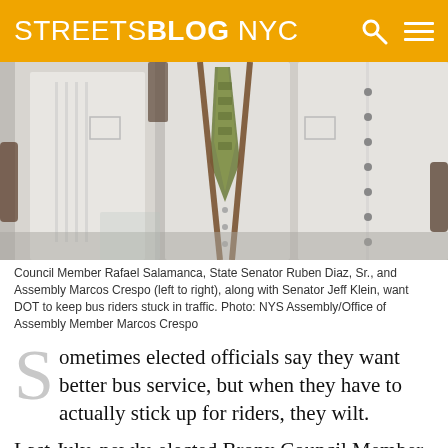STREETSBLOG NYC
[Figure (photo): Three men standing side by side in white shirts; the middle man wears a tie and suspenders.]
Council Member Rafael Salamanca, State Senator Ruben Diaz, Sr., and Assembly Marcos Crespo (left to right), along with Senator Jeff Klein, want DOT to keep bus riders stuck in traffic. Photo: NYS Assembly/Office of Assembly Member Marcos Crespo
Sometimes elected officials say they want better bus service, but when they have to actually stick up for riders, they wilt.
Last July, newly-elected Bronx Council Member Rafael Salamanca signed onto the Bus Turnaround